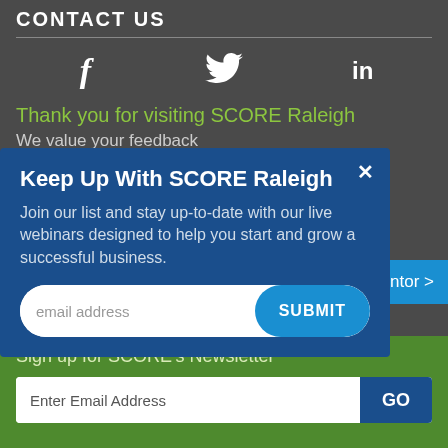CONTACT US
[Figure (illustration): Social media icons: Facebook (f), Twitter bird, LinkedIn (in) displayed in white on dark background]
Thank you for visiting SCORE Raleigh
We value your feedback
Keep Up With SCORE Raleigh
Join our list and stay up-to-date with our live webinars designed to help you start and grow a successful business.
email address
SUBMIT
ntor >
Need more information? Visit our Contact page.
Sign up for SCORE's Newsletter
Enter Email Address
GO